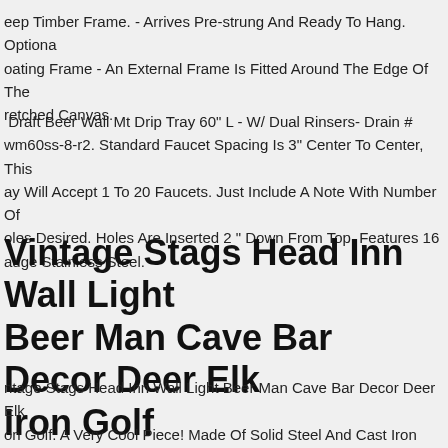eep Timber Frame. - Arrives Pre-strung And Ready To Hang. Optiona oating Frame - An External Frame Is Fitted Around The Edge Of The retched Canvas.
Draft Beer Wall Mt Drip Tray 60" L - W/ Dual Rinsers- Drain # wm60ss-8-r2. Standard Faucet Spacing Is 3" Center To Center, This ay Will Accept 1 To 20 Faucets. Just Include A Note With Number Of oles Desired. Holes Are Inserted 2 " Down From Top. Features 16 auge Stainless Steel.
Vintage Stags Head Inn Wall Light Beer Man Cave Bar Decor Deer Elk Iron Golf
ntage Stags Head Inn Wall Light Beer Man Cave Bar Decor Deer Elk on Golf. A Very Cool Piece! Made Of Solid Steel And Cast Iron easures About 16x10 Inches Where It Says Stags Head Inn Measures 4 Inches